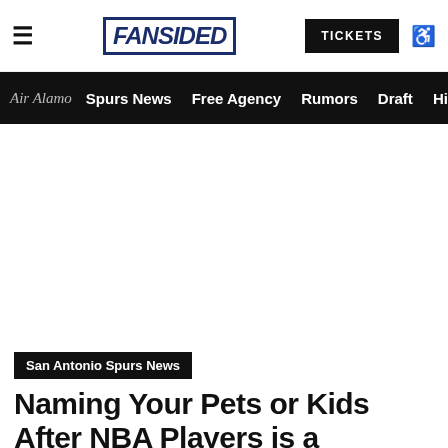FANSIDED | TICKETS
Air Alamo | Spurs News | Free Agency | Rumors | Draft | His
[Figure (other): Advertisement/blank white area]
San Antonio Spurs News
Naming Your Pets or Kids After NBA Players is a